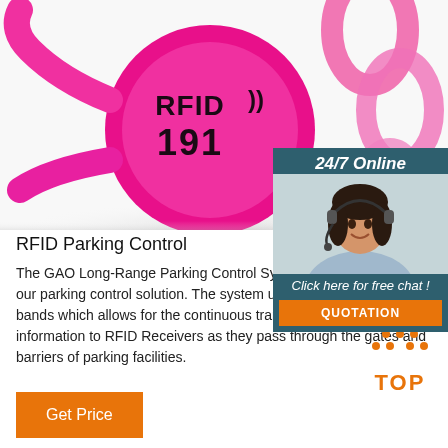[Figure (photo): Pink RFID wristband tag with text 'RFID 191' and signal waves, on white background with shadow]
[Figure (photo): 24/7 Online chat widget with a woman wearing a headset, 'Click here for free chat!' text, and QUOTATION orange button]
RFID Parking Control
The GAO Long-Range Parking Control System is the version of our parking control solution. The system u MHz and 2.45 Ghz bands which allows for the continuous transmission of vehicle information to RFID Receivers as they pass through the gates and barriers of parking facilities.
[Figure (other): Orange TOP arrow button/icon]
Get Price